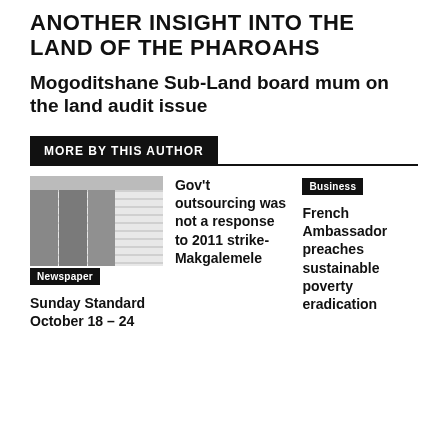ANOTHER INSIGHT INTO THE LAND OF THE PHAROAHS
Mogoditshane Sub-Land board mum on the land audit issue
MORE BY THIS AUTHOR
[Figure (photo): Newspaper front page thumbnail showing three men's portraits]
Newspaper
Sunday Standard October 18 – 24
Gov't outsourcing was not a response to 2011 strike-Makgalemele
Business
French Ambassador preaches sustainable poverty eradication